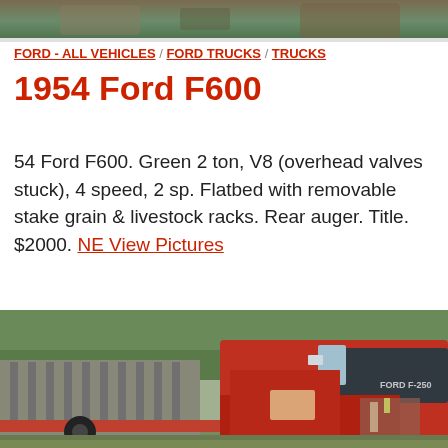[Figure (photo): Top portion of a vehicle, partially cropped, showing rust-colored machinery against a green/brown background]
FORD - ALL VEHICLES / FORD TRUCKS / TRUCKS
1954 Ford F600
54 Ford F600. Green 2 ton, V8 (overhead valves stuck), 4 speed, 2 sp. Flatbed with removable stake grain & livestock racks. Rear auger. Title. $2000. NE View Pictures
[Figure (photo): Red 1954 Ford F600 flatbed truck with open hood, photographed outdoors. Livestock racks visible on flatbed.]